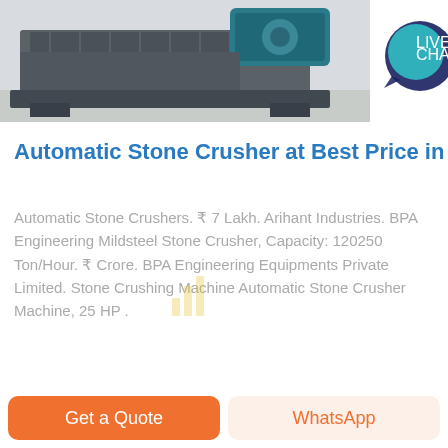[Figure (photo): Industrial stone crusher machine with blue motor/engine on top, mounted on metal frame platform, photographed in a warehouse/factory floor setting. Partial view cropped at top.]
Automatic Stone Crusher at Best Price in In
Automatic Stone Crushers. ₹ 7 Lakh. Arihant Industries. BPA Engineering Mildsteel Stone Crusher, Capacity: 120250 Ton/Hour. ₹ Crore. BPA Engineering Equipments Private Limited. Stone Crushing Machine Automatic Stone Crusher Machine, 25 HP .
GET PRICE
[Figure (photo): Partial view of another industrial stone crusher machine, showing circular crushing wheel/disc in factory setting, partially visible at bottom of page.]
Get a Quote
WhatsApp